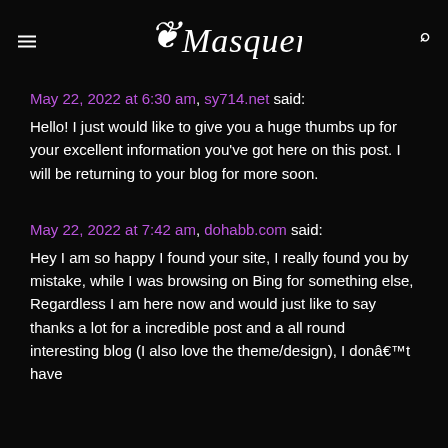≡ Masquerade 🔍
May 22, 2022 at 6:30 am, sy714.net said:
Hello! I just would like to give you a huge thumbs up for your excellent information you've got here on this post. I will be returning to your blog for more soon.
May 22, 2022 at 7:42 am, dohabb.com said:
Hey I am so happy I found your site, I really found you by mistake, while I was browsing on Bing for something else, Regardless I am here now and would just like to say thanks a lot for a incredible post and a all round interesting blog (I also love the theme/design), I donâ€™t have